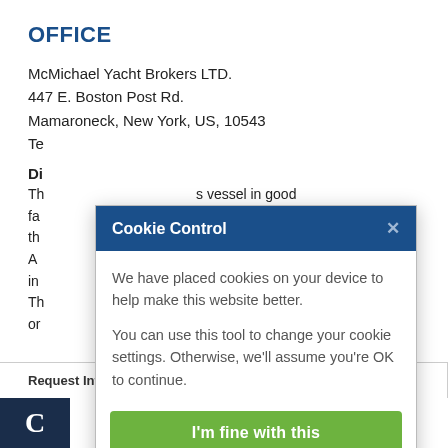OFFICE
McMichael Yacht Brokers LTD.
447 E. Boston Post Rd.
Maramaroneck, New York, US, 10543
Te
Di
Th s vessel in good fa the accuracy of th ition of the vessel. A his surveyors, to in desires validated. Th sale, price change, or
[Figure (screenshot): Cookie Control modal dialog with dark blue header, close button (X), body text about cookies, green 'I'm fine with this' button, and footer link 'Information and Settings About our cookies']
Request Info    Loan Calculator
[Figure (logo): Dark navy square logo with white letter C]